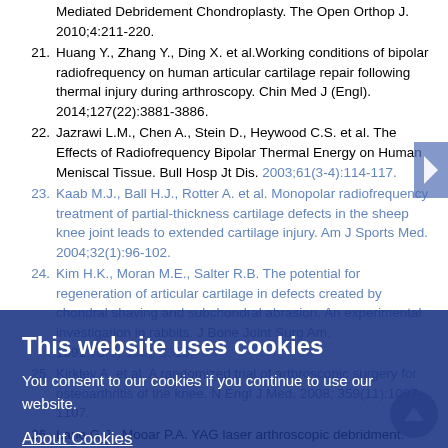Mediated Debridement Chondroplasty. The Open Orthop J. 2010;4:211-220.
21. Huang Y., Zhang Y., Ding X. et al. Working conditions of bipolar radiofrequency on human articular cartilage repair following thermal injury during arthroscopy. Chin Med J (Engl). 2014;127(22):3881-3886.
22. Jazrawi L.M., Chen A., Stein D., Heywood C.S. et al. The Effects of Radiofrequency Bipolar Thermal Energy on Human Meniscal Tissue. Bull Hosp Jt Dis. 2003;61(3-4):114-117.
23. Kaab M.J., Ball H.J., Rotter A. et al. Monopolar radiofrequency treatment of partial-thickness cartilage defects in the sheep knee joint leads to extended cartilage injury. Am J Sports Med. 2004;32(1):96-102.
24. Kim H.K., Moran M.E., Salter R.B. The potential for regeneration of articular cartilage in defects created by chondral shaving and subchondral abrasion. An experimental investigation in rabbits. J Bone Joint Surg Am. 1991;73(9):1301-1315.
25. Kirkley A. et al. A randomized trial of arthroscopic surgery for osteoarthritis of the knee. N Engl J Med. 2008; 359(11):1097-1107.
26. Lane G.J., Mooar P.A. YAG laser arthroscopic debridment. Lasers Surg Med. 1991;(3):53.
27. Lu Y., Edwards R.B. 3rd, Cole B.J., Markel M.D. Thermal chondroplasty with radiofrequency energy. An in vitro comparison of bipolar and monopolar radiofrequency devices. Am J Sports Med.
[Figure (other): Cookie consent overlay popup with dark blue semi-transparent background. Contains title 'This website uses cookies', body text 'You consent to our cookies if you continue to use our website.', an 'About Cookies' underlined link, and an 'OK' button.]